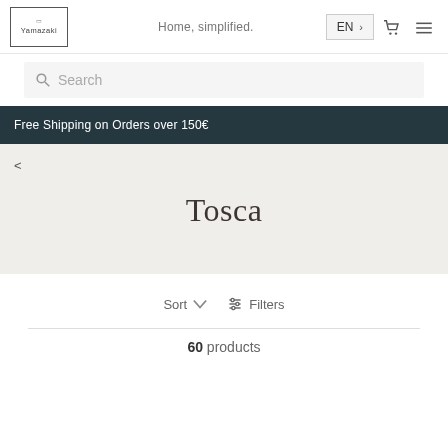Yamazaki | Home, simplified. | EN | cart | menu
Search
Free Shipping on Orders over 150€
<
Tosca
Sort  Filters
60 products